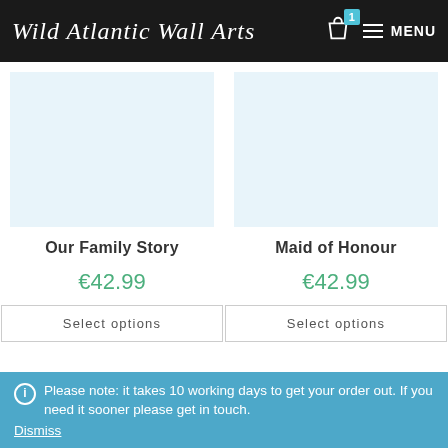Wild Atlantic Wall Arts — MENU (1 item in cart)
Our Family Story
€42.99
Select options
Maid of Honour
€42.99
Select options
Please note: it takes 10 working days to get your order out. If you need it sooner please get in touch.
Dismiss